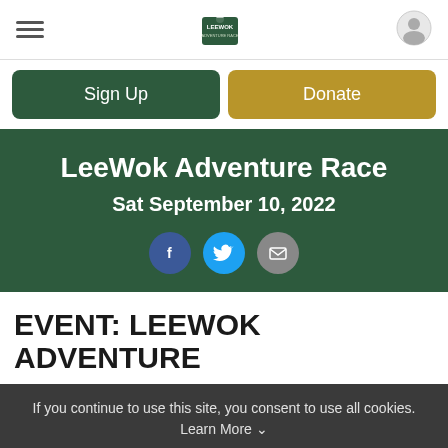LeeWok navigation bar with hamburger menu, logo, and user icon
Sign Up
Donate
LeeWok Adventure Race
Sat September 10, 2022
[Figure (infographic): Social sharing icons: Facebook (blue circle), Twitter (light blue circle), Email (gray circle)]
EVENT: LEEWOK ADVENTURE
If you continue to use this site, you consent to use all cookies. Learn More ∨
I Accept